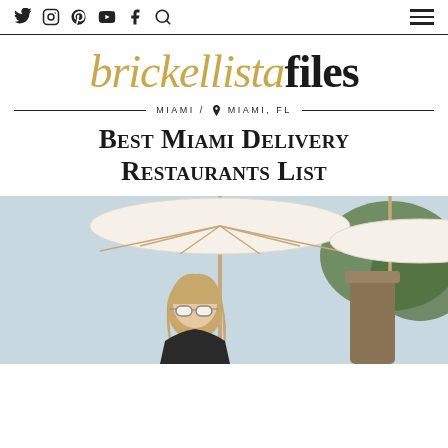Social media icons and hamburger menu navigation bar
[Figure (logo): Brickellista Files logo in gold italic and black bold serif font]
MIAMI / 📍 MIAMI, FL
Best Miami Delivery Restaurants List
[Figure (photo): Woman with sunglasses under a white outdoor umbrella at a restaurant patio]